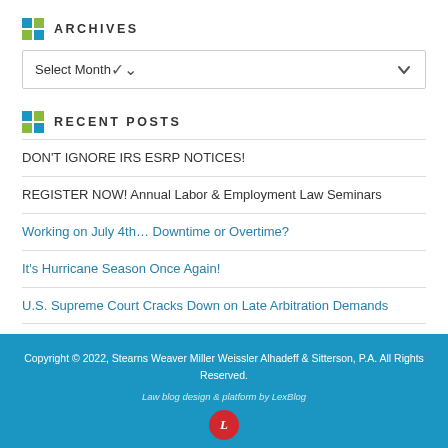ARCHIVES
Select Month
RECENT POSTS
DON'T IGNORE IRS ESRP NOTICES!
REGISTER NOW! Annual Labor & Employment Law Seminars
Working on July 4th… Downtime or Overtime?
It's Hurricane Season Once Again!
U.S. Supreme Court Cracks Down on Late Arbitration Demands
Copyright © 2022, Stearns Weaver Miller Weissler Alhadeff & Sitterson, P.A. All Rights Reserved.
Law blog design & platform by LexBlog